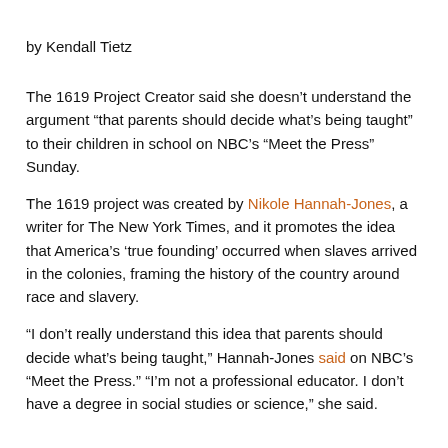by Kendall Tietz
The 1619 Project Creator said she doesn't understand the argument “that parents should decide what’s being taught” to their children in school on NBC’s “Meet the Press” Sunday.
The 1619 project was created by Nikole Hannah-Jones, a writer for The New York Times, and it promotes the idea that America’s ‘true founding’ occurred when slaves arrived in the colonies, framing the history of the country around race and slavery.
“I don’t really understand this idea that parents should decide what’s being taught,” Hannah-Jones said on NBC’s “Meet the Press.” “I’m not a professional educator. I don’t have a degree in social studies or science,” she said.